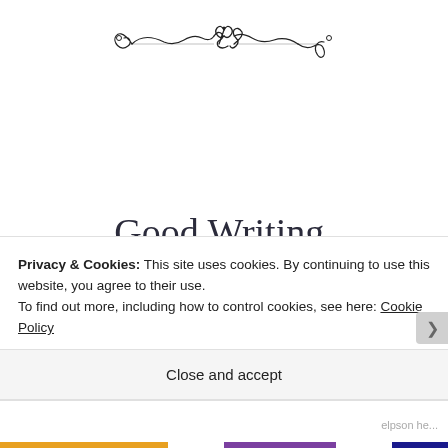[Figure (illustration): Decorative ornamental divider — a symmetrical scroll/flourish design in black ink centered at the top of the page]
Good Writing,
8/20/20
Privacy & Cookies: This site uses cookies. By continuing to use this website, you agree to their use.
To find out more, including how to control cookies, see here: Cookie Policy
Close and accept